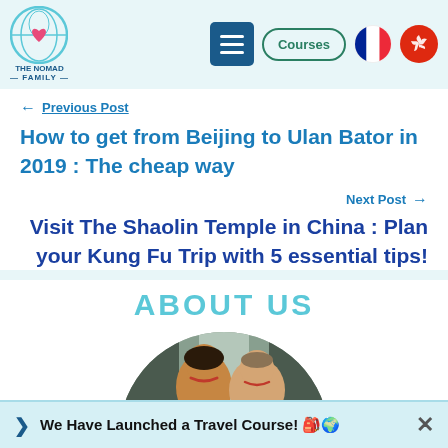[Figure (logo): The Nomad Family logo with circular icon showing family silhouette and globe, with hamburger menu button, Courses button, French flag icon, and Hong Kong flag icon in navigation bar]
← Previous Post
How to get from Beijing to Ulan Bator in 2019 : The cheap way
Next Post →
Visit The Shaolin Temple in China : Plan your Kung Fu Trip with 5 essential tips!
ABOUT US
[Figure (photo): Circular cropped photo of a family (woman and man smiling) in front of a waterfall]
We Have Launched a Travel Course! 🎒🌍